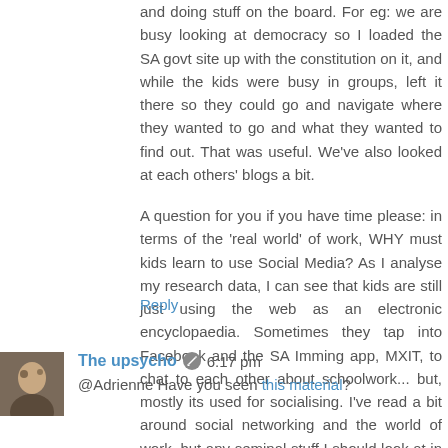and doing stuff on the board. For eg: we are busy looking at democracy so I loaded the SA govt site up with the constitution on it, and while the kids were busy in groups, left it there so they could go and navigate where they wanted to go and what they wanted to find out. That was useful. We've also looked at each others' blogs a bit.

A question for you if you have time please: in terms of the 'real world' of work, WHY must kids learn to use Social Media? As I analyse my research data, I can see that kids are still just using the web as an electronic encyclopaedia. Sometimes they tap into Facebook and the SA Imming app, MXIT, to chat to each other about schoolwork... but, mostly its used for socialising. I've read a bit around social networking and the world of work, but any seminal stuff I should look at in terms of implications for pedagogy? Thanks.
Reply
The upsycho  6:17 pm
@Adrienne Have you seen this material?